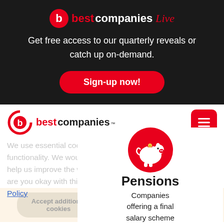[Figure (logo): Best Companies Live logo with red circle b icon, 'best' in red, 'companies' in white, 'Live' in red italic]
Get free access to our quarterly reveals or catch up on-demand.
Sign-up now!
[Figure (logo): Best Companies logo with red circle b icon, 'best' in red, 'companies' in dark]
[Figure (illustration): Red circle with white piggy bank icon]
Pensions
Companies offering a final salary scheme to all employees, or one in which
We use essential cookies for website security and functionality. We would like to use additional cookies that will help us improve the website and understand how it is used - are you okay with this? For more information see our Cookie Policy